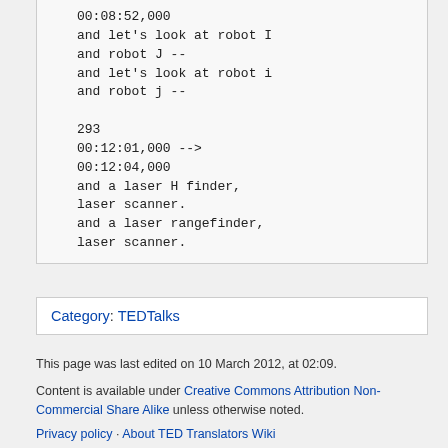00:08:52,000
and let's look at robot I
and robot J --
and let's look at robot i
and robot j --

293
00:12:01,000 -->
00:12:04,000
and a laser H finder,
laser scanner.
and a laser rangefinder,
laser scanner.
Category: TEDTalks
This page was last edited on 10 March 2012, at 02:09.
Content is available under Creative Commons Attribution Non-Commercial Share Alike unless otherwise noted.
Privacy policy · About TED Translators Wiki